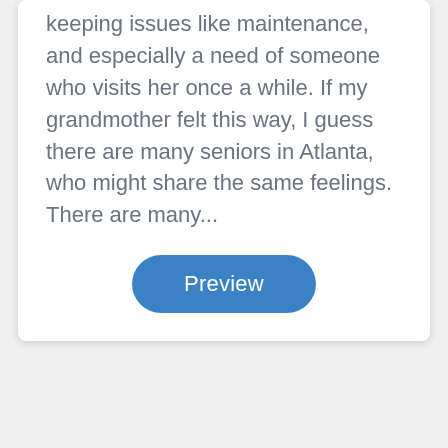keeping issues like maintenance, and especially a need of someone who visits her once a while. If my grandmother felt this way, I guess there are many seniors in Atlanta, who might share the same feelings. There are many...
Preview